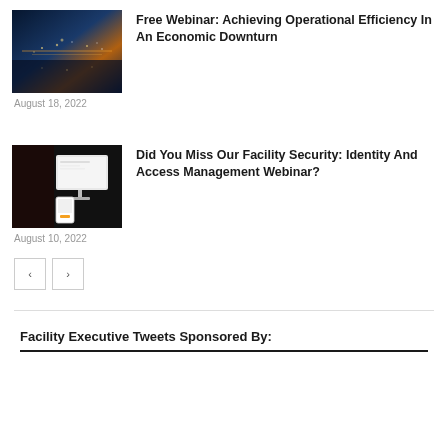[Figure (photo): Aerial night city skyline photo used as thumbnail for webinar article]
Free Webinar: Achieving Operational Efficiency In An Economic Downturn
August 18, 2022
[Figure (photo): Security management kiosk and access control devices photo used as thumbnail]
Did You Miss Our Facility Security: Identity And Access Management Webinar?
August 10, 2022
< >
Facility Executive Tweets Sponsored By: